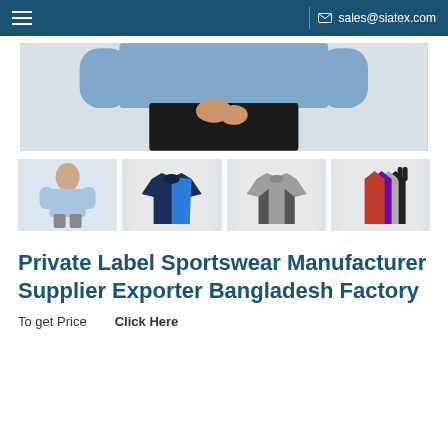sales@siatex.com
[Figure (photo): Hero image of a woman wearing a blue long-sleeve athletic top and black workout pants, cropped at torso level]
[Figure (photo): Thumbnail of woman in light blue long-sleeve athletic shirt]
[Figure (photo): Thumbnail of navy and royal blue two-tone short-sleeve athletic shirt]
[Figure (photo): Thumbnail of grey short-sleeve athletic shirt with black side panels]
[Figure (photo): Thumbnail of multiple women's racerback tank tops in black, grey, purple, and red]
Private Label Sportswear Manufacturer Supplier Exporter Bangladesh Factory
To get Price   Click Here